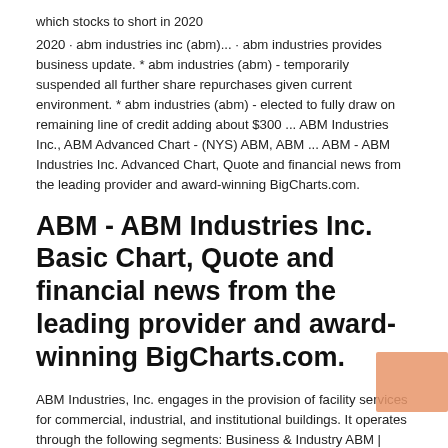which stocks to short in 2020
2020 · abm industries inc (abm)... · abm industries provides business update. * abm industries (abm) - temporarily suspended all further share repurchases given current environment. * abm industries (abm) - elected to fully draw on remaining line of credit adding about $300 ... ABM Industries Inc., ABM Advanced Chart - (NYS) ABM, ABM ... ABM - ABM Industries Inc. Advanced Chart, Quote and financial news from the leading provider and award-winning BigCharts.com.
ABM - ABM Industries Inc. Basic Chart, Quote and financial news from the leading provider and award-winning BigCharts.com.
ABM Industries, Inc. engages in the provision of facility services for commercial, industrial, and institutional buildings. It operates through the following segments: Business & Industry ABM | ABM Industries Inc. Stock Price & News - WSJ